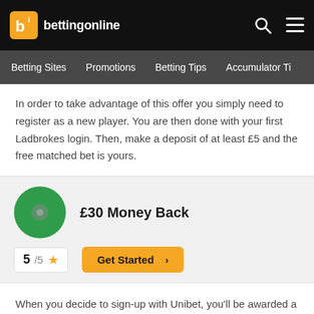bettingonline
Betting Sites   Promotions   Betting Tips   Accumulator Ti
In order to take advantage of this offer you simply need to register as a new player. You are then done with your first Ladbrokes login. Then, make a deposit of at least £5 and the free matched bet is yours.
£30 Money Back
5 / 5 ★
Get Started ›
When you decide to sign-up with Unibet, you'll be awarded a welcome bonus of money back as a bonus if your first sport bet loses.